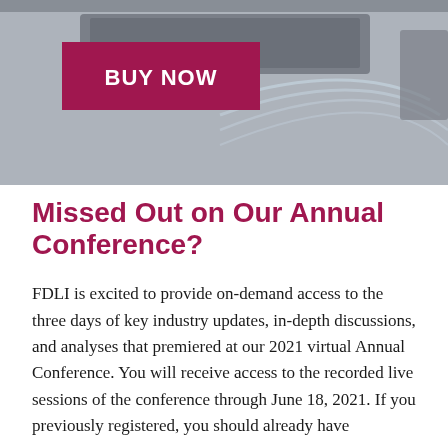[Figure (photo): Banner image showing a blurred laptop/technology scene with gray tones and arc design elements, with a dark crimson 'BUY NOW' button overlaid on the left side.]
Missed Out on Our Annual Conference?
FDLI is excited to provide on-demand access to the three days of key industry updates, in-depth discussions, and analyses that premiered at our 2021 virtual Annual Conference. You will receive access to the recorded live sessions of the conference through June 18, 2021. If you previously registered, you should already have access to the recordings.